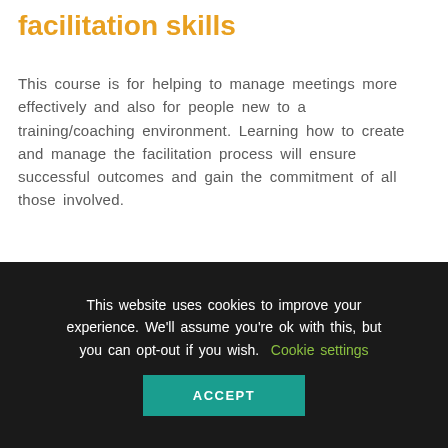facilitation skills
This course is for helping to manage meetings more effectively and also for people new to a training/coaching environment. Learning how to create and manage the facilitation process will ensure successful outcomes and gain the commitment of all those involved.
LEARN MORE
[Figure (photo): A partial image strip showing a person, visible at the bottom of the main content area]
This website uses cookies to improve your experience. We'll assume you're ok with this, but you can opt-out if you wish. Cookie settings ACCEPT